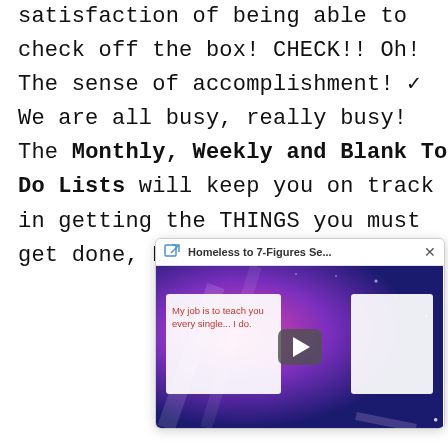satisfaction of being able to check off the box! CHECK!! Oh! The sense of accomplishment! ✓ We are all busy, really busy! The Monthly, Weekly and Blank To Do Lists will keep you on track in getting the THINGS you must get done, DONE!
[Figure (screenshot): A video popup overlay showing 'Homeless to 7-Figures Se...' with a play button over a purple/blue stage background. White cards overlay part of the video with red text reading 'My job is to teach you every single...' and a play button in the center.]